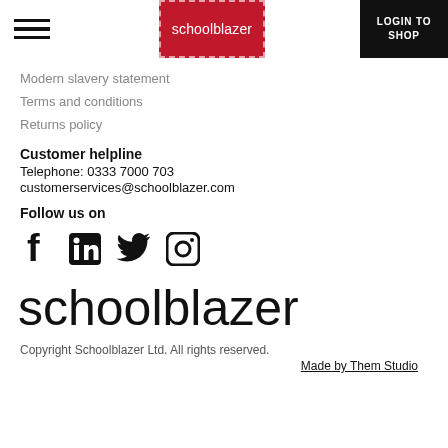schoolblazer | LOGIN TO SHOP
Modern slavery statement
Terms and conditions
Returns policy
Customer helpline
Telephone: 0333 7000 703
customerservices@schoolblazer.com
Follow us on
[Figure (infographic): Social media icons: Facebook, LinkedIn, Twitter, Instagram]
[Figure (logo): schoolblazer logo in large black text]
Copyright Schoolblazer Ltd. All rights reserved.
Made by Them Studio